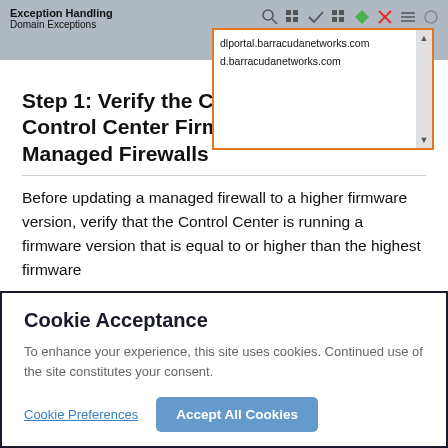Exception Handling
Domain Exceptions
[Figure (screenshot): Domain exceptions list box showing dlportal.barracudanetworks.com and d.barracudanetworks.com with orange border and scrollbar]
Step 1: Verify the Compatibility of the Control Center Firmware with the Managed Firewalls
Before updating a managed firewall to a higher firmware version, verify that the Control Center is running a firmware version that is equal to or higher than the highest firmware
Cookie Acceptance
To enhance your experience, this site uses cookies. Continued use of the site constitutes your consent.
Cookie Preferences | Accept All Cookies